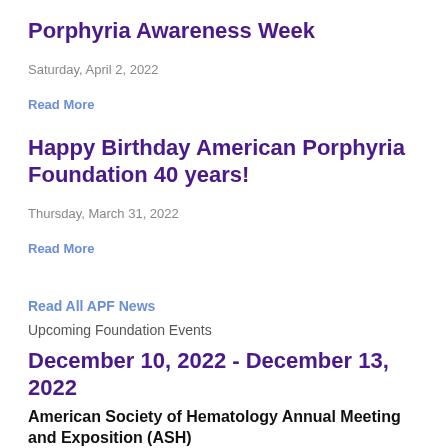Porphyria Awareness Week
Saturday, April 2, 2022
Read More
Happy Birthday American Porphyria Foundation 40 years!
Thursday, March 31, 2022
Read More
Read All APF News
Upcoming Foundation Events
December 10, 2022 - December 13, 2022
American Society of Hematology Annual Meeting and Exposition (ASH)
Read More